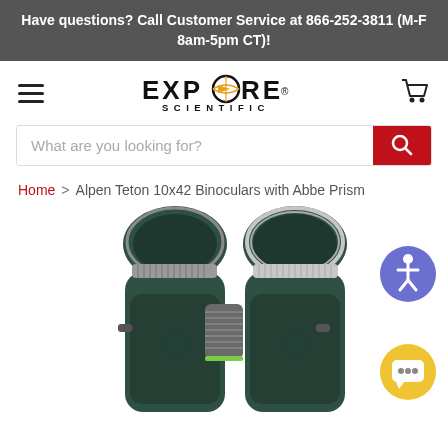Have questions? Call Customer Service at 866-252-3811 (M-F 8am-5pm CT)!
[Figure (logo): Explore Scientific logo with hamburger menu and cart icon]
What are you looking for?
Home > Alpen Teton 10x42 Binoculars with Abbe Prism
[Figure (photo): Top view of Alpen Teton 10x42 binoculars with green body and silver rings, showing both eyepiece caps and center focus wheel]